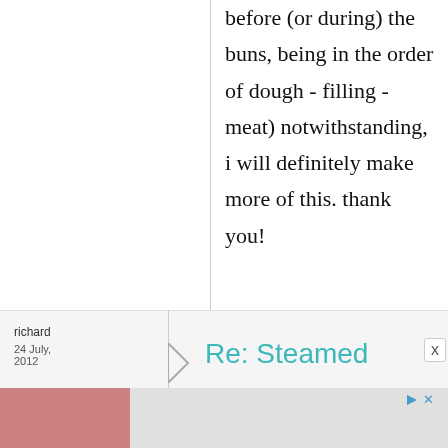before (or during) the buns, being in the order of dough - filling - meat) notwithstanding, i will definitely make more of this. thank you!
richard
24 July, 2012
Re: Steamed